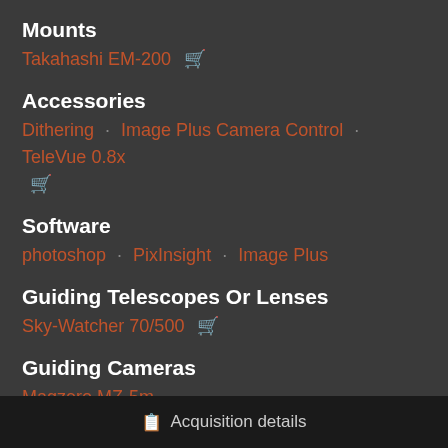Mounts
Takahashi EM-200 🛒
Accessories
Dithering · Image Plus Camera Control · TeleVue 0.8x 🛒
Software
photoshop · PixInsight · Image Plus
Guiding Telescopes Or Lenses
Sky-Watcher 70/500 🛒
Guiding Cameras
Magzero MZ-5m
Acquisition details